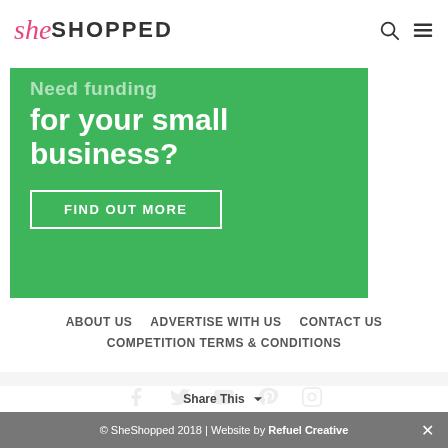SheShopped
[Figure (infographic): Green banner with bold white text 'for your small business?' and a 'FIND OUT MORE' button with white border]
ABOUT US   ADVERTISE WITH US   CONTACT US
COMPETITION TERMS & CONDITIONS
[Figure (infographic): Social media icons row: Facebook, Twitter, YouTube, Pinterest, Instagram]
© SheShopped 2018 | Website by Refuel Creative
Share This